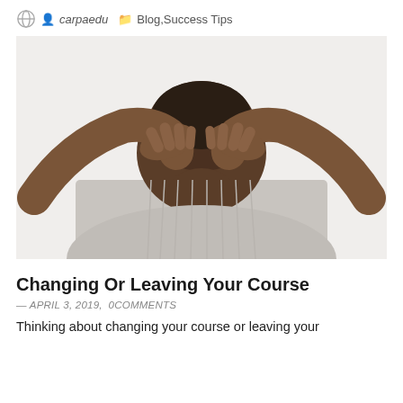carpaedu  Blog,Success Tips
[Figure (photo): A person in a grey v-neck shirt with hands pressed against sides of their head, bowing forward in a stressed or frustrated posture, viewed from above/front, against a white background.]
Changing Or Leaving Your Course
— APRIL 3, 2019,  0COMMENTS
Thinking about changing your course or leaving your